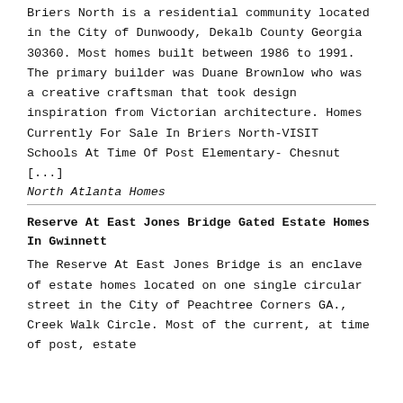Briers North is a residential community located in the City of Dunwoody, Dekalb County Georgia 30360. Most homes built between 1986 to 1991. The primary builder was Duane Brownlow who was a creative craftsman that took design inspiration from Victorian architecture. Homes Currently For Sale In Briers North-VISIT Schools At Time Of Post Elementary- Chesnut [...]
North Atlanta Homes
Reserve At East Jones Bridge Gated Estate Homes In Gwinnett
The Reserve At East Jones Bridge is an enclave of estate homes located on one single circular street in the City of Peachtree Corners GA., Creek Walk Circle. Most of the current, at time of post, estate